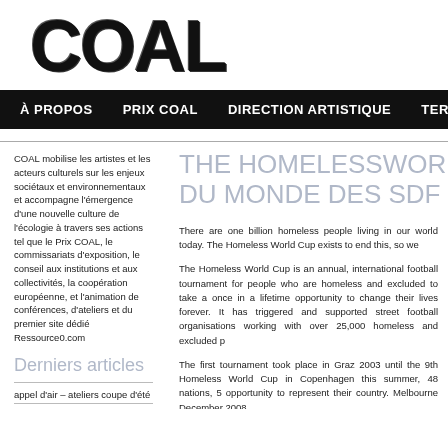COAL
À PROPOS   PRIX COAL   DIRECTION ARTISTIQUE   TERRITOIRES   LES
COAL mobilise les artistes et les acteurs culturels sur les enjeux sociétaux et environnementaux et accompagne l'émergence d'une nouvelle culture de l'écologie à travers ses actions tel que le Prix COAL, le commissariats d'exposition, le conseil aux institutions et aux collectivités, la coopération européenne, et l'animation de conférences, d'ateliers et du premier site dédié Ressource0.com
Derniers articles
appel d'air – ateliers coupe d'été
le chant des forêts, une exposition au maif social club
THE HOMELESSWOR… DU MONDE DES SDF…
There are one billion homeless people living in our world today. The Homeless World Cup exists to end this, so we
The Homeless World Cup is an annual, international football tournament for people who are homeless and excluded to take a once in a lifetime opportunity to change their lives forever. It has triggered and supported street football organisations working with over 25,000 homeless and excluded p
The first tournament took place in Graz 2003 until the 9th Homeless World Cup in Copenhagen this summer, 48 nations, 5 opportunity to represent their country. Melbourne December 2008.